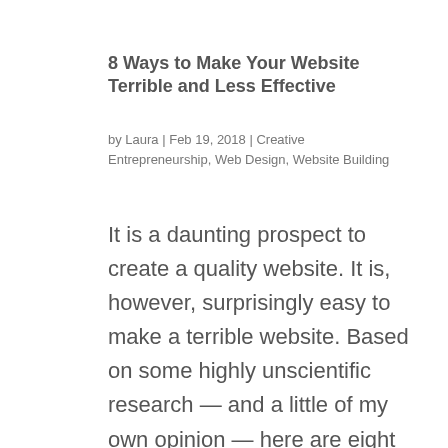8 Ways to Make Your Website Terrible and Less Effective
by Laura | Feb 19, 2018 | Creative Entrepreneurship, Web Design, Website Building
It is a daunting prospect to create a quality website. It is, however, surprisingly easy to make a terrible website. Based on some highly unscientific research — and a little of my own opinion — here are eight ways to guarantee a terrible and less effective website....